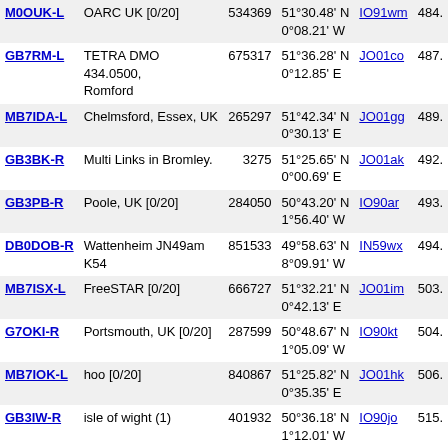| Callsign | Description | ID | Coordinates | Grid | Dist |
| --- | --- | --- | --- | --- | --- |
| M0OUK-L | OARC UK [0/20] | 534369 | 51°30.48' N 0°08.21' W | IO91wm | 484. |
| GB7RM-L | TETRA DMO 434.0500, Romford | 675317 | 51°36.28' N 0°12.85' E | JO01co | 487. |
| MB7IDA-L | Chelmsford, Essex, UK | 265297 | 51°42.34' N 0°30.13' E | JO01gg | 489. |
| GB3BK-R | Multi Links in Bromley. | 3275 | 51°25.65' N 0°00.69' E | JO01ak | 492. |
| GB3PB-R | Poole, UK [0/20] | 284050 | 50°43.20' N 1°56.40' W | IO90ar | 493. |
| DB0DOB-R | Wattenheim JN49am K54 | 851533 | 49°58.63' N 8°09.91' W | IN59wx | 494. |
| MB7ISX-L | FreeSTAR [0/20] | 666727 | 51°32.21' N 0°42.13' E | JO01im | 503. |
| G7OKI-R | Portsmouth, UK [0/20] | 287599 | 50°48.67' N 1°05.09' W | IO90kt | 504. |
| MB7IOK-L | hoo [0/20] | 840867 | 51°25.82' N 0°35.35' E | JO01hk | 506. |
| GB3IW-R | isle of wight (1) | 401932 | 50°36.18' N 1°12.01' W | IO90jo | 515. |
| MB7IPH-L | Headcorn - 145.237 77.0 | 254459 | 51°10.09' N 0°37.44' E | JO01he | 522. |
| DK0MC-L | INTERMAR [0/20] | 994173 | 49°00.00' N 8°00.00' W | IN69aa | 561. |
| DL1LJ-L | Karlsruhe [0/20] | 242660 | 49°00.00' N 8°00.00' W | IN69aa | 561. |